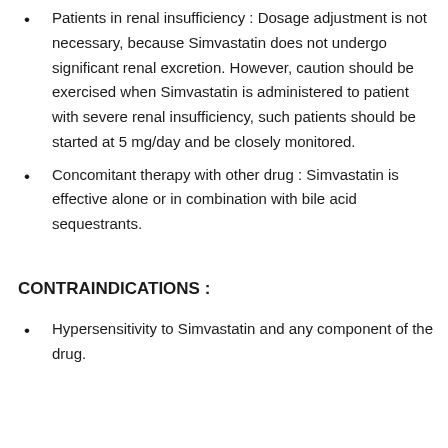Patients in renal insufficiency : Dosage adjustment is not necessary, because Simvastatin does not undergo significant renal excretion. However, caution should be exercised when Simvastatin is administered to patient with severe renal insufficiency, such patients should be started at 5 mg/day and be closely monitored.
Concomitant therapy with other drug : Simvastatin is effective alone or in combination with bile acid sequestrants.
CONTRAINDICATIONS :
Hypersensitivity to Simvastatin and any component of the drug.